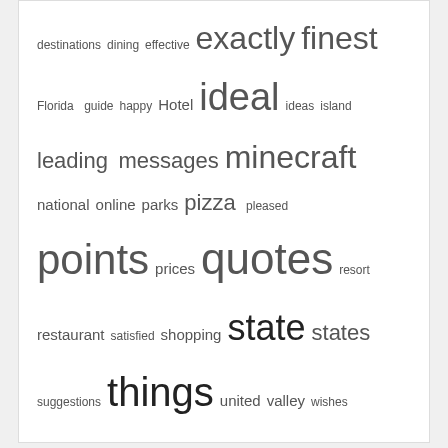[Figure (infographic): Word cloud tag cloud with words of varying sizes: destinations, dining, effective, exactly, finest, Florida, guide, happy, Hotel, ideal, ideas, island, leading, messages, minecraft, national, online, parks, pizza, pleased, points, prices, quotes, resort, restaurant, satisfied, shopping, state, states, suggestions, things, united, valley, wishes]
You may Missed
UNCATEGORIZED
40+ Sunflower Quotes And Also Phrases To Bring Happiness
November 23, 2021 / Daily Paper
MISC